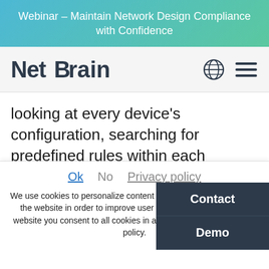Webinar – Maintain Network Design Compliance with Confidence
[Figure (logo): NetBrain logo with stylized text]
looking at every device's configuration, searching for predefined rules within each device, and reporting any device that's non-compliant.
NetBrain's vulnerability assessment technology explained in 2 minutes
Ok   No   Privacy policy
We use cookies to personalize content and understand your use of the website in order to improve user experience. By using our website you consent to all cookies in accordance with our privacy policy.